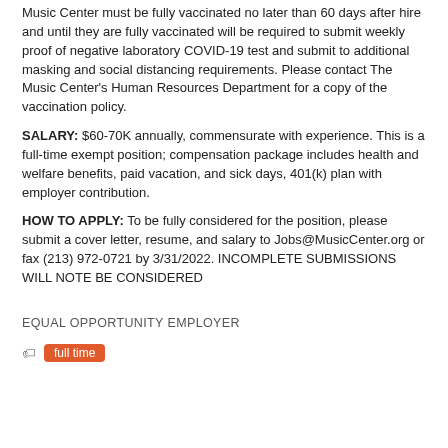Music Center must be fully vaccinated no later than 60 days after hire and until they are fully vaccinated will be required to submit weekly proof of negative laboratory COVID-19 test and submit to additional masking and social distancing requirements. Please contact The Music Center's Human Resources Department for a copy of the vaccination policy.
SALARY: $60-70K annually, commensurate with experience. This is a full-time exempt position; compensation package includes health and welfare benefits, paid vacation, and sick days, 401(k) plan with employer contribution.
HOW TO APPLY: To be fully considered for the position, please submit a cover letter, resume, and salary to Jobs@MusicCenter.org or fax (213) 972-0721 by 3/31/2022. INCOMPLETE SUBMISSIONS WILL NOTE BE CONSIDERED
EQUAL OPPORTUNITY EMPLOYER
full time